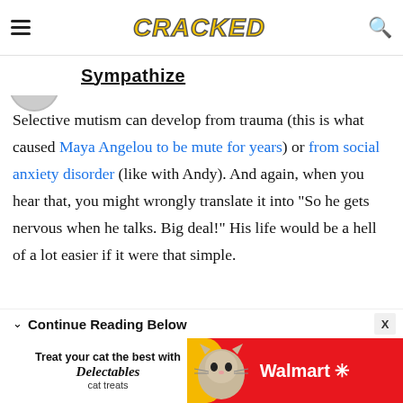CRACKED
Sympathize
Selective mutism can develop from trauma (this is what caused Maya Angelou to be mute for years) or from social anxiety disorder (like with Andy). And again, when you hear that, you might wrongly translate it into "So he gets nervous when he talks. Big deal!" His life would be a hell of a lot easier if it were that simple.
Continue Reading Below
[Figure (other): Walmart Delectables cat treats advertisement banner]